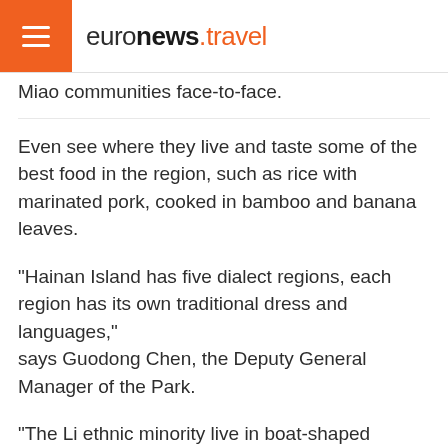euronews.travel
Miao communities face-to-face.
Even see where they live and taste some of the best food in the region, such as rice with marinated pork, cooked in bamboo and banana leaves.
"Hainan Island has five dialect regions, each region has its own traditional dress and languages," says Guodong Chen, the Deputy General Manager of the Park.
"The Li ethnic minority live in boat-shaped houses, which looks like an upside boat from a distance."
This show of traditional even extends to weddings, a big attraction for visitors to the Li and Miao Cultural Heritage Park.